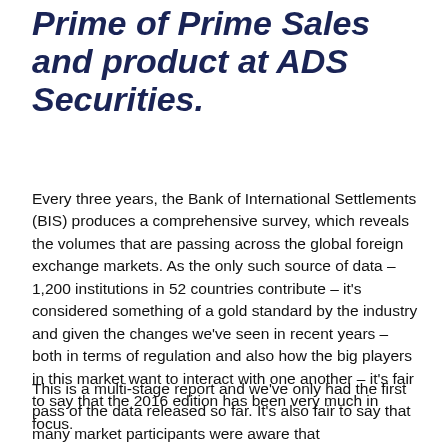Prime of Prime Sales and product at ADS Securities.
Every three years, the Bank of International Settlements (BIS) produces a comprehensive survey, which reveals the volumes that are passing across the global foreign exchange markets. As the only such source of data – 1,200 institutions in 52 countries contribute – it's considered something of a gold standard by the industry and given the changes we've seen in recent years – both in terms of regulation and also how the big players in this market want to interact with one another – it's fair to say that the 2016 edition has been very much in focus.
This is a multi-stage report and we've only had the first pass of the data released so far. It's also fair to say that many market participants were aware that